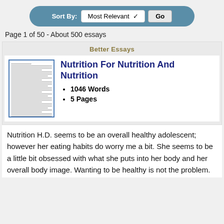[Figure (screenshot): Sort By dropdown bar with 'Most Relevant' selected and a 'Go' button, on a blue-gray rounded background]
Page 1 of 50 - About 500 essays
Better Essays
[Figure (illustration): Thumbnail image of an essay document with horizontal lines representing text]
Nutrition For Nutrition And Nutrition
1046 Words
5 Pages
Nutrition H.D. seems to be an overall healthy adolescent; however her eating habits do worry me a bit. She seems to be a little bit obsessed with what she puts into her body and her overall body image. Wanting to be healthy is not the problem.